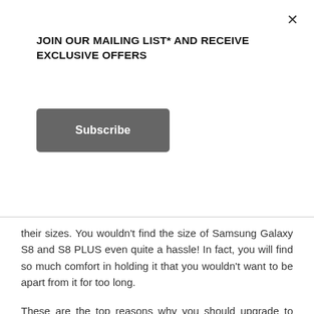JOIN OUR MAILING LIST* AND RECEIVE EXCLUSIVE OFFERS
Subscribe
their sizes. You wouldn't find the size of Samsung Galaxy S8 and S8 PLUS even quite a hassle! In fact, you will find so much comfort in holding it that you wouldn't want to be apart from it for too long.
These are the top reasons why you should upgrade to Samsung Galaxy S8 and S8 PLUS. There is just too many of the updates that would make your life easier and more manageable. When you get to upgrade, there is a great possibility that you can get your work done; your homework could be finished in the allocated time. These devices support applications that could help you get through the difficulties that you might be facing in your job or in your studies.